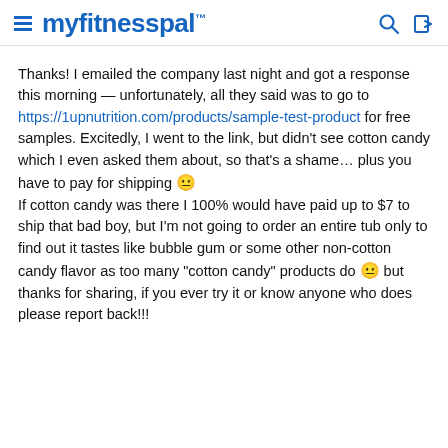myfitnesspal
Thanks! I emailed the company last night and got a response this morning — unfortunately, all they said was to go to https://1upnutrition.com/products/sample-test-product for free samples. Excitedly, I went to the link, but didn't see cotton candy which I even asked them about, so that's a shame... plus you have to pay for shipping 😐 If cotton candy was there I 100% would have paid up to $7 to ship that bad boy, but I'm not going to order an entire tub only to find out it tastes like bubble gum or some other non-cotton candy flavor as too many "cotton candy" products do 😐 but thanks for sharing, if you ever try it or know anyone who does please report back!!!